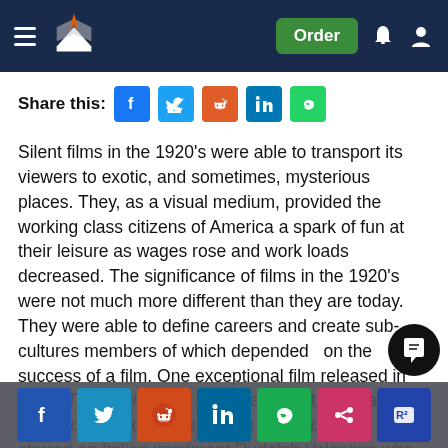Navigation bar with logo and Order button
Share this:
Silent films in the 1920's were able to transport its viewers to exotic, and sometimes, mysterious places. They, as a visual medium, provided the working class citizens of America a spark of fun at their leisure as wages rose and work loads decreased. The significance of films in the 1920's were not much more different than they are today. They were able to define careers and create sub-cultures members of which depended  on the success of a film. One exceptional film released in 1921, The Sheik, is an American silent film that was directed by George Melfo. The silent romantic drama starred an Italian immigrant Rudolph Valentino who portrayed a character that bore no resemblance... The Sheik is an adaptation of a romance novel that was written by